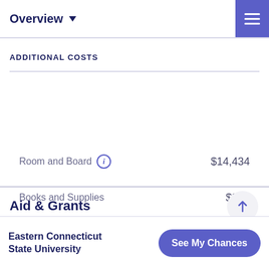Overview
ADDITIONAL COSTS
| Item | Cost |
| --- | --- |
| Room and Board | $14,434 |
| Books and Supplies | $800 |
Aid & Grants
Eastern Connecticut State University
See My Chances